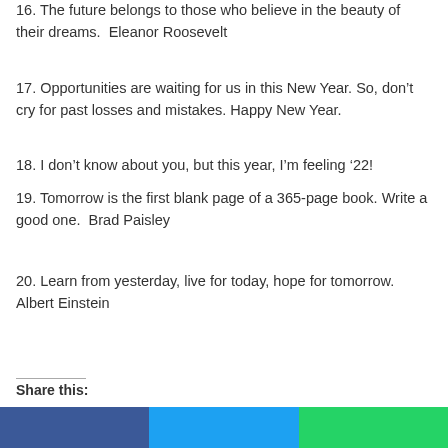16. The future belongs to those who believe in the beauty of their dreams.  Eleanor Roosevelt
17. Opportunities are waiting for us in this New Year. So, don’t cry for past losses and mistakes. Happy New Year.
18. I don’t know about you, but this year, I’m feeling ‘22!
19. Tomorrow is the first blank page of a 365-page book. Write a good one.  Brad Paisley
20. Learn from yesterday, live for today, hope for tomorrow. Albert Einstein
Share this: